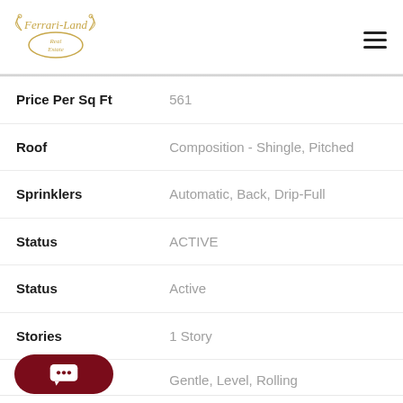Ferrari-Land Real Estate
| Field | Value |
| --- | --- |
| Price Per Sq Ft | 561 |
| Roof | Composition - Shingle, Pitched |
| Sprinklers | Automatic, Back, Drip-Full |
| Status | ACTIVE |
| Status | Active |
| Stories | 1 Story |
|  | Gentle, Level, Rolling |